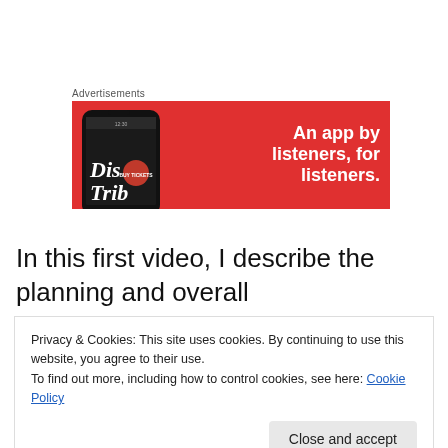Advertisements
[Figure (illustration): Advertisement banner with red background showing a smartphone with 'DisTrib' app on screen and text 'An app by listeners, for listeners.']
In this first video, I describe the planning and overall
design of the experience, which included discussing the
Privacy & Cookies: This site uses cookies. By continuing to use this website, you agree to their use.
To find out more, including how to control cookies, see here: Cookie Policy
Close and accept